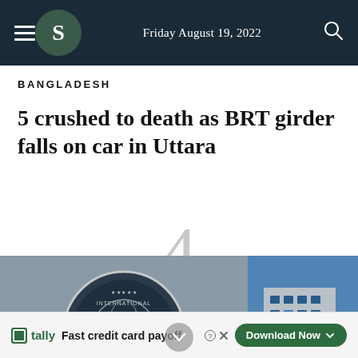Friday August 19, 2022
BANGLADESH
5 crushed to death as BRT girder falls on car in Uttara
[Figure (photo): IMF International Monetary Fund sign and building exterior]
4
tally Fast credit card payoff Download Now